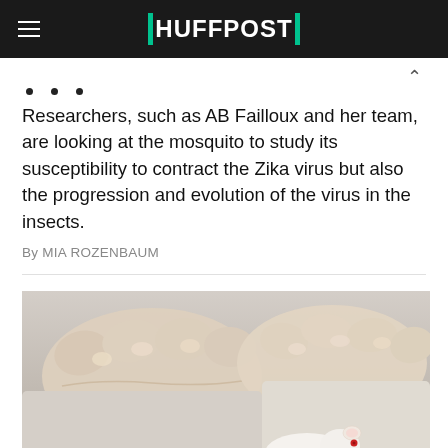HUFFPOST
Researchers, such as AB Failloux and her team, are looking at the mosquito to study its susceptibility to contract the Zika virus but also the progression and evolution of the virus in the insects.
By MIA ROZENBAUM
[Figure (photo): Gloved hands holding a white laboratory mouse, suggesting scientific/medical research setting]